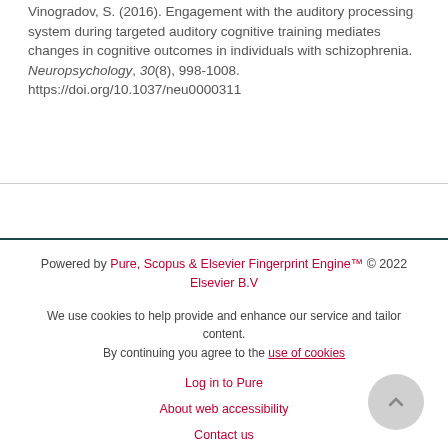Vinogradov, S. (2016). Engagement with the auditory processing system during targeted auditory cognitive training mediates changes in cognitive outcomes in individuals with schizophrenia. Neuropsychology, 30(8), 998-1008. https://doi.org/10.1037/neu0000311
Powered by Pure, Scopus & Elsevier Fingerprint Engine™ © 2022 Elsevier B.V

We use cookies to help provide and enhance our service and tailor content. By continuing you agree to the use of cookies

Log in to Pure

About web accessibility

Contact us